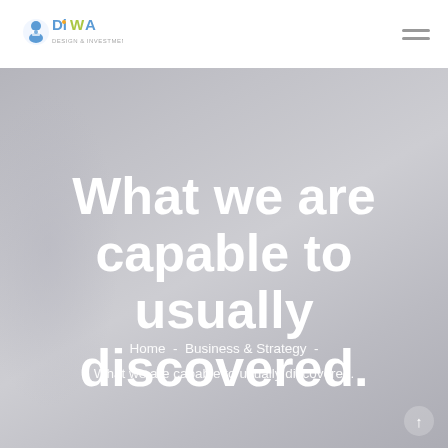[Figure (logo): DiWA logo with stylized text and icon in blue, green, and yellow colors]
What we are capable to usually discovered.
Home - Business & Strategy - What we are capable to usually discovered.